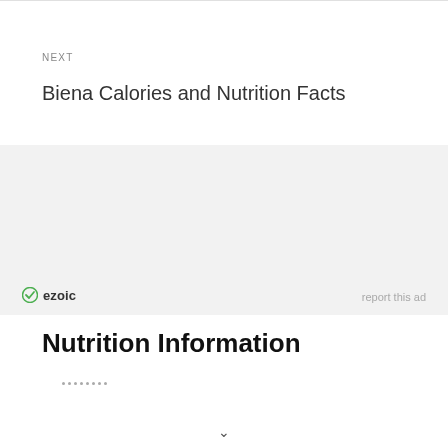NEXT
Biena Calories and Nutrition Facts
[Figure (other): Advertisement block with ezoic branding and 'report this ad' link]
Nutrition Information